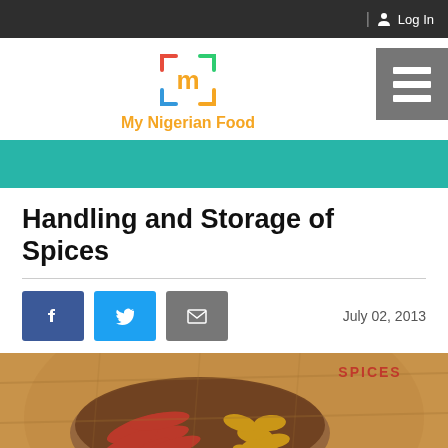| 🚶 Log In
[Figure (logo): My Nigerian Food logo with colorful bracket-style m icon and orange text]
[Figure (illustration): Teal/turquoise horizontal banner strip]
Handling and Storage of Spices
July 02, 2013
[Figure (photo): Bowl of red chili peppers and yellow spices on wooden surface with SPICES text label]